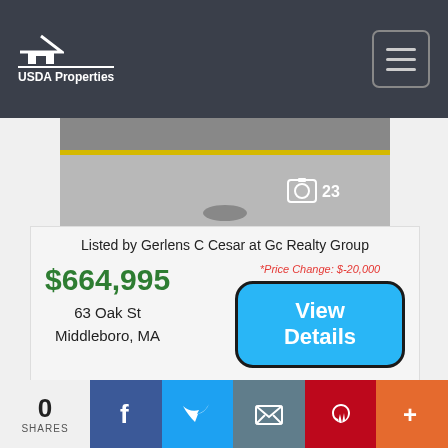USDA Properties
[Figure (photo): Aerial or ground-level pavement/road photo with yellow line visible; photo count badge showing camera icon and 23]
Listed by Gerlens C Cesar at Gc Realty Group
$664,995
63 Oak St
Middleboro, MA
*Price Change: $-20,000
View Details
0
SHARES